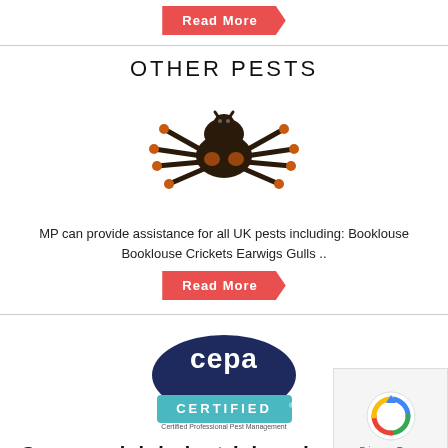[Figure (illustration): Red 'Read More' arrow button at the top of the page]
OTHER PESTS
[Figure (photo): A tarantula spider with orange and black coloring on a white background]
MP can provide assistance for all UK pests including: Booklouse Booklouse Crickets Earwigs Gulls ..
[Figure (illustration): Red 'Read More' arrow button]
[Figure (logo): CEPA CERTIFIED - Certified Professional Pest Management logo with dark blue oval top and teal banner]
Commercial, industrial, and residential